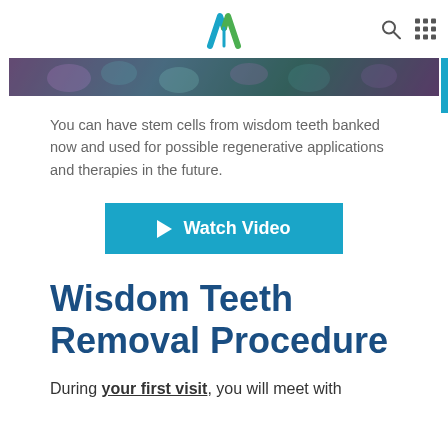M [logo] [search icon] [grid icon]
[Figure (photo): Close-up macro photo of colorful cells or biological tissue in purple, teal, and green tones]
You can have stem cells from wisdom teeth banked now and used for possible regenerative applications and therapies in the future.
[Figure (other): Blue button labeled Watch Video with a play arrow icon]
Wisdom Teeth Removal Procedure
During your first visit, you will meet with